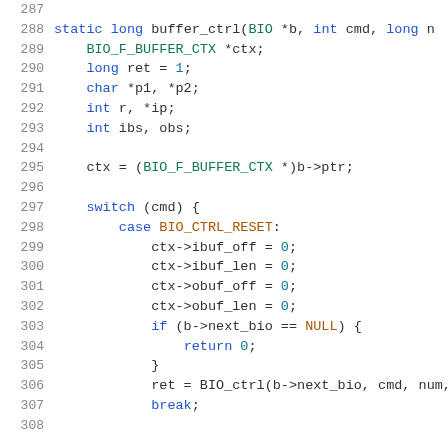[Figure (screenshot): Source code listing showing lines 287-307 of a C function buffer_ctrl. Lines are numbered in gray on the left. Keywords like static, long, int, char, switch, case, if, return, break are in blue. Type names like BIO_F_BUFFER_CTX are in teal/green. Numeric literals (0, 1) are in teal. The code includes variable declarations, a switch statement handling BIO_CTRL_RESET, and buffer offset/length assignments.]